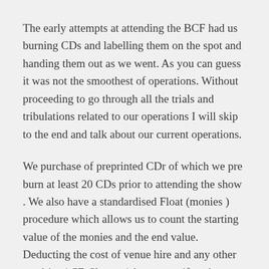The early attempts at attending the BCF had us burning CDs and labelling them on the spot and handing them out as we went. As you can guess it was not the smoothest of operations. Without proceeding to go through all the trials and tribulations related to our operations I will skip to the end and talk about our current operations.
We purchase of preprinted CDr of which we pre burn at least 20 CDs prior to attending the show . We also have a standardised Float (monies ) procedure which allows us to count the starting value of the monies and the end value. Deducting the cost of venue hire and any other sundries ( CD Sleeves ) lets us see if we have made a profit, loss or broken even. Presentation wise we have a large black cloth to use as a back drop for the table. We